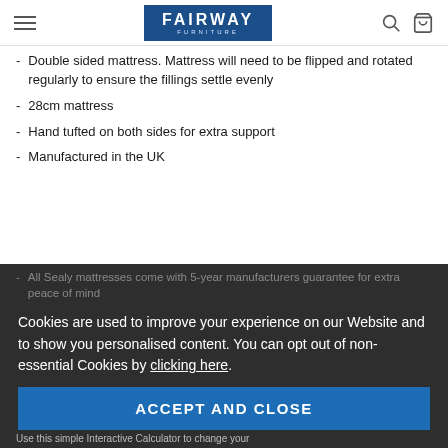FAIRWAY FURNITURE
Double sided mattress. Mattress will need to be flipped and rotated regularly to ensure the fillings settle evenly
28cm mattress
Hand tufted on both sides for extra support
Manufactured in the UK
All Sealy mattresses come with 5-year manufacturers guarantee for extra peace of mind
Cookies are used to improve your experience on our Website and to show you personalised content. You can opt out of non-essential Cookies by clicking here.
ACCEPT AND CLOSE
FLEXIBLE FINANCE OPTIONS
Use this simple Interactive Calculator to change your